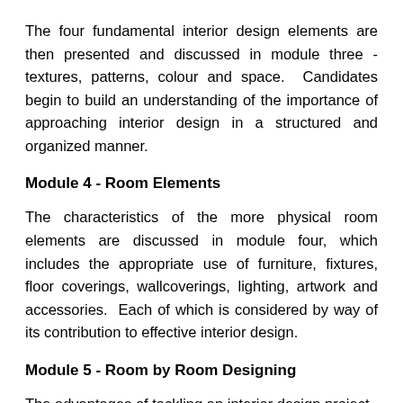The four fundamental interior design elements are then presented and discussed in module three - textures, patterns, colour and space. Candidates begin to build an understanding of the importance of approaching interior design in a structured and organized manner.
Module 4 - Room Elements
The characteristics of the more physical room elements are discussed in module four, which includes the appropriate use of furniture, fixtures, floor coverings, wallcoverings, lighting, artwork and accessories. Each of which is considered by way of its contribution to effective interior design.
Module 5 - Room by Room Designing
The advantages of tackling an interior design project